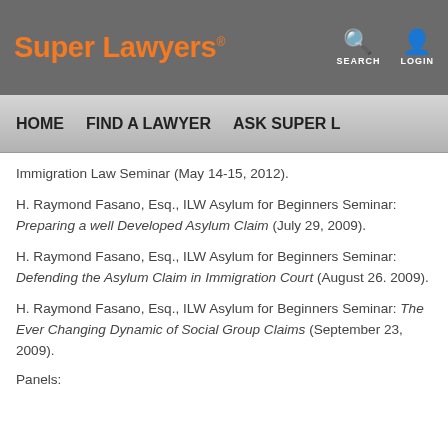Super Lawyers | SEARCH | LOGIN
HOME | FIND A LAWYER | ASK SUPER L...
Immigration Law Seminar (May 14-15, 2012).
H. Raymond Fasano, Esq., ILW Asylum for Beginners Seminar: Preparing a well Developed Asylum Claim (July 29, 2009).
H. Raymond Fasano, Esq., ILW Asylum for Beginners Seminar: Defending the Asylum Claim in Immigration Court (August 26. 2009).
H. Raymond Fasano, Esq., ILW Asylum for Beginners Seminar: The Ever Changing Dynamic of Social Group Claims (September 23, 2009).
Panels: